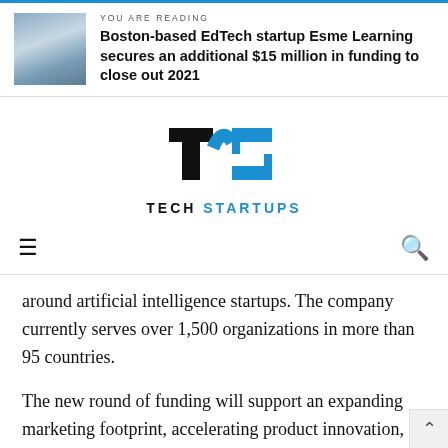YOU ARE READING
Boston-based EdTech startup Esme Learning secures an additional $15 million in funding to close out 2021
[Figure (logo): Tech Startups logo with stylized TS mark in black and blue, with text TECH STARTUPS below]
around artificial intelligence startups. The company currently serves over 1,500 organizations in more than 95 countries.
The new round of funding will support an expanding marketing footprint, accelerating product innovation, and enhancing research & development on new formats of courses to meet the demands of the time-